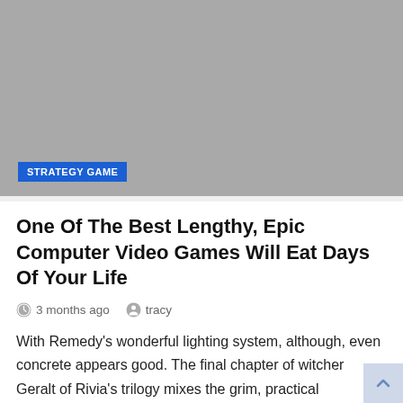[Figure (photo): Gray placeholder image for article header with a blue 'STRATEGY GAME' badge in the bottom left corner]
One Of The Best Lengthy, Epic Computer Video Games Will Eat Days Of Your Life
3 months ago   tracy
With Remedy's wonderful lighting system, although, even concrete appears good. The final chapter of witcher Geralt of Rivia's trilogy mixes the grim, practical atmosphere the collection is famous for with an open world reminiscent ofSkyrim—but oh so completely different. Disco Elysiumis likePlanescape Torment, ifPlancescapeplopped